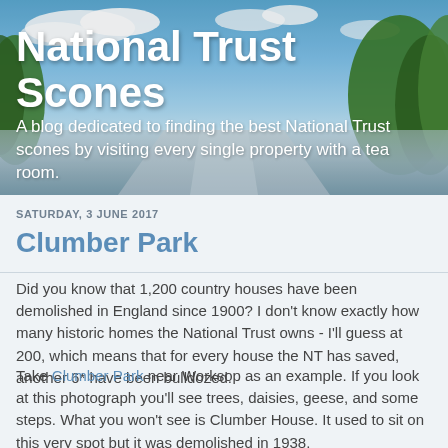[Figure (photo): Outdoor landscape photo showing a blue sky with clouds, green trees on the right and left edges, and a road or path receding into the distance. Used as a decorative header banner for a blog.]
National Trust Scones
A blog dedicated to finding the best National Trust scones by visiting every single property with a tea room.
SATURDAY, 3 JUNE 2017
Clumber Park
Did you know that 1,200 country houses have been demolished in England since 1900? I don't know exactly how many historic homes the National Trust owns - I'll guess at 200, which means that for every house the NT has saved, another 6* have been bulldozed.
Take Clumber Park near Worksop as an example. If you look at this photograph you'll see trees, daisies, geese, and some steps. What you won't see is Clumber House. It used to sit on this very spot but it was demolished in 1938.